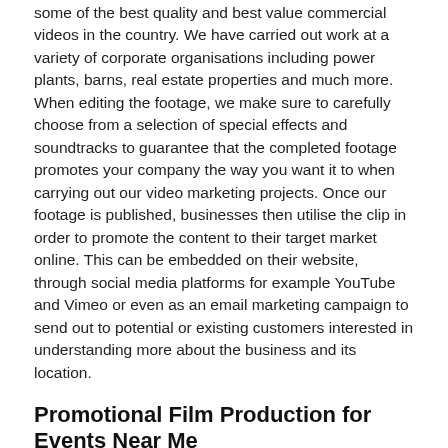some of the best quality and best value commercial videos in the country. We have carried out work at a variety of corporate organisations including power plants, barns, real estate properties and much more. When editing the footage, we make sure to carefully choose from a selection of special effects and soundtracks to guarantee that the completed footage promotes your company the way you want it to when carrying out our video marketing projects. Once our footage is published, businesses then utilise the clip in order to promote the content to their target market online. This can be embedded on their website, through social media platforms for example YouTube and Vimeo or even as an email marketing campaign to send out to potential or existing customers interested in understanding more about the business and its location.
Promotional Film Production for Events Near Me
ShowReel can also film, edit and publish promotional films for events in Anslow Gate DE13 9 such as weddings, go karting, festivals, leisure centres and many other venues closest to you. These promo videos are excellent, as once completed they can be shared online across a variety of social platforms in order for other